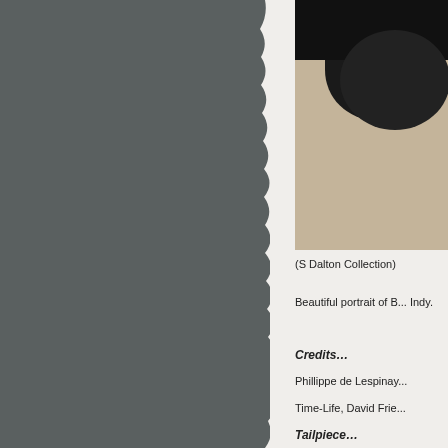[Figure (photo): Left side dark grey/slate background panel with torn paper edge effect on the right side]
[Figure (photo): Portrait photo at top right, showing partial view with dark top and beige/cream tones below]
(S Dalton Collection)
Beautiful portrait of B... Indy.
Credits...
Phillippe de Lespinay...
Time-Life, David Frie...
Tailpiece...
[Figure (photo): Bottom photo showing outdoor scene with utility poles and trees]